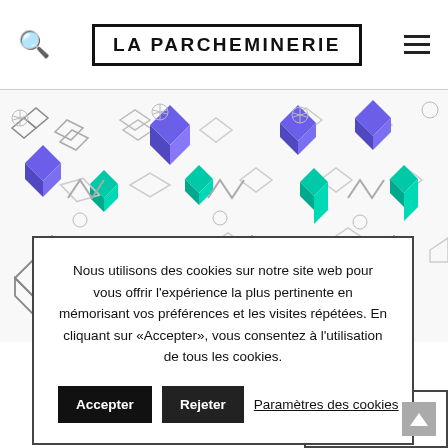LA PARCHEMINERIE
[Figure (illustration): Colorful isometric 3D shape pattern on white background with purple, teal, red, yellow geometric letter-like forms scattered across]
Nous utilisons des cookies sur notre site web pour vous offrir l'expérience la plus pertinente en mémorisant vos préférences et les visites répétées. En cliquant sur «Accepter», vous consentez à l'utilisation de tous les cookies.
Accepter
Rejeter
Paramètres des cookies